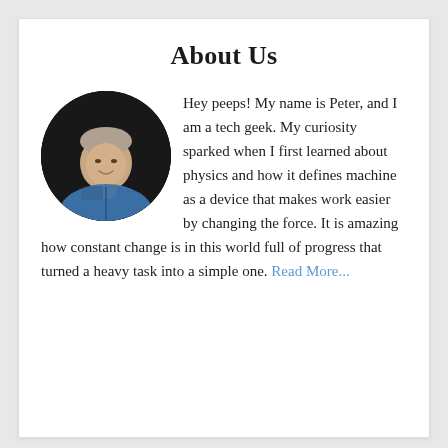About Us
[Figure (photo): Circular portrait photo of a young man in a blue shirt holding a smartphone, smiling, dark background]
Hey peeps! My name is Peter, and I am a tech geek. My curiosity sparked when I first learned about physics and how it defines machine as a device that makes work easier by changing the force. It is amazing how constant change is in this world full of progress that turned a heavy task into a simple one. Read More...